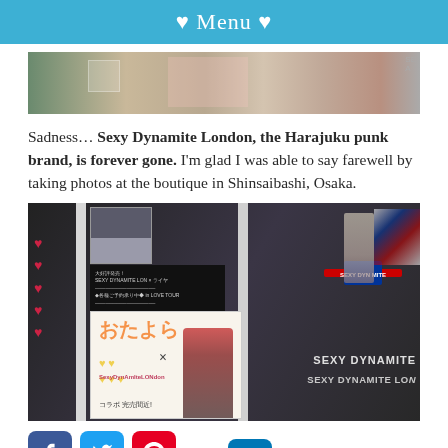♥ Menu ♥
[Figure (photo): Top portion of a store front photo showing posters and manga artwork in a window display]
Sadness… Sexy Dynamite London, the Harajuku punk brand, is forever gone. I'm glad I was able to say farewell by taking photos at the boutique in Shinsaibashi, Osaka.
[Figure (photo): Photo of Sexy Dynamite London boutique storefront in Shinsaibashi, Osaka, showing window display with posters, London Underground style sign, and brand signage]
[Figure (infographic): Social media share buttons: Facebook, Twitter, Pinterest, LinkedIn]